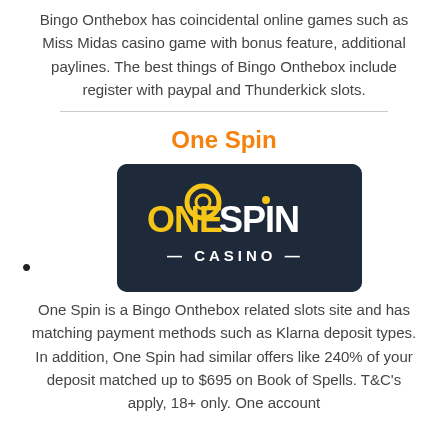Bingo Onthebox has coincidental online games such as Miss Midas casino game with bonus feature, additional paylines. The best things of Bingo Onthebox include register with paypal and Thunderkick slots.
One Spin
[Figure (logo): One Spin Casino logo — dark navy background with 'ONE SPIN' in bold yellow and white letters, and 'CASINO' in white below with decorative dashes]
One Spin is a Bingo Onthebox related slots site and has matching payment methods such as Klarna deposit types. In addition, One Spin had similar offers like 240% of your deposit matched up to $695 on Book of Spells. T&C's apply, 18+ only. One account